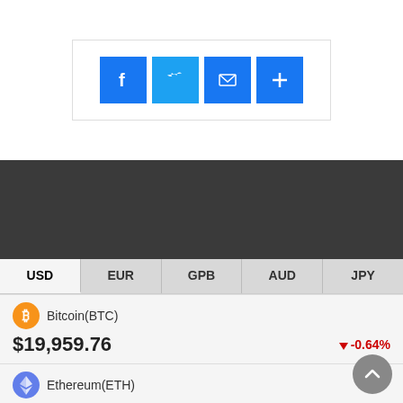[Figure (infographic): Social share buttons: Facebook, Twitter, Mail, Plus (AddThis)]
[Figure (screenshot): Dark background advertisement/content area]
| USD | EUR | GPB | AUD | JPY |
| --- | --- | --- | --- | --- |
| Bitcoin(BTC) |  |  |  |  |
| $19,959.76 |  |  |  | -0.64% |
| Ethereum(ETH) |  |  |  |  |